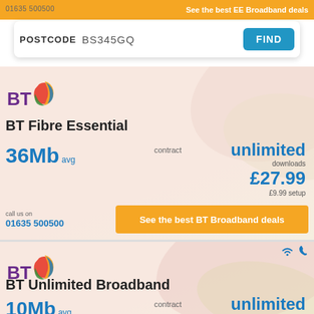01635 500500   See the best EE Broadband deals
POSTCODE BS345GQ FIND
[Figure (logo): BT logo with globe icon]
BT Fibre Essential
36Mb avg
contract
unlimited downloads
£27.99
£9.99 setup
call us on
01635 500500
See the best BT Broadband deals
[Figure (logo): BT logo with globe icon - second card]
BT Unlimited Broadband
10Mb avg
contract
unlimited downloads